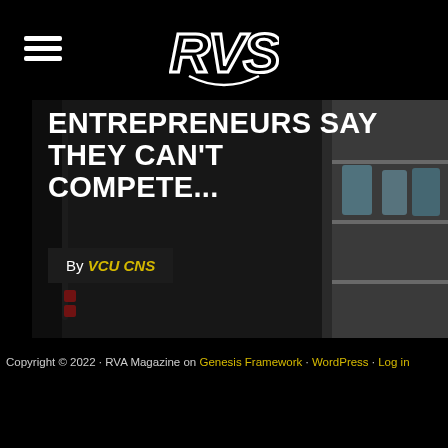RVS (logo)
[Figure (photo): Hero image showing a store/shop interior with glass shelves and products, overlaid with bold white text headline and byline]
ENTREPRENEURS SAY THEY CAN'T COMPETE...
By VCU CNS
Copyright © 2022 · RVA Magazine on Genesis Framework · WordPress · Log in